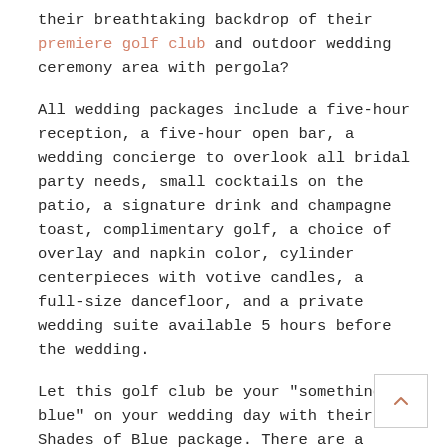their breathtaking backdrop of their premiere golf club and outdoor wedding ceremony area with pergola?
All wedding packages include a five-hour reception, a five-hour open bar, a wedding concierge to overlook all bridal party needs, small cocktails on the patio, a signature drink and champagne toast, complimentary golf, a choice of overlay and napkin color, cylinder centerpieces with votive candles, a full-size dancefloor, and a private wedding suite available 5 hours before the wedding.
Let this golf club be your "something blue" on your wedding day with their Shades of Blue package. There are a bunch of customizable bar and cocktail hour options listed for you, as well as an endless and delicious list of appetizers and artisan tables, depending on prices you are comfortable with. As for the dinner service, these prices come in at $79 per person and you can pick from an array of starters, choose up to 2 plated entree or 3 entrée stations, and